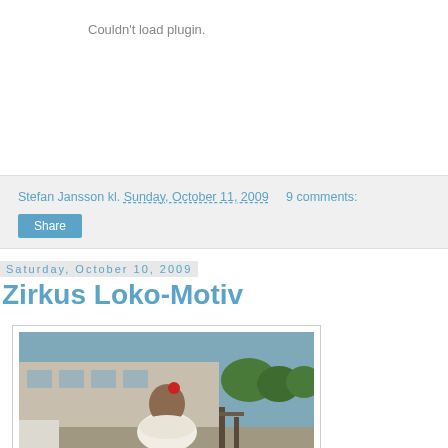Couldn't load plugin.
Stefan Jansson kl. Sunday, October 11, 2009   9 comments:
Share
Saturday, October 10, 2009
Zirkus Loko-Motiv
[Figure (photo): A woman in a white outfit with a red flower accessory in her hair, standing outdoors near a building and trees.]